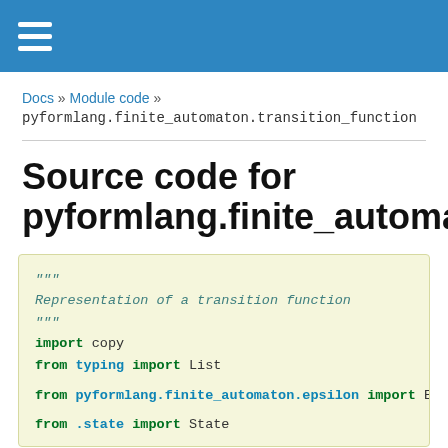≡
Docs » Module code » pyformlang.finite_automaton.transition_function
Source code for pyformlang.finite_automaton.tra
"""
Representation of a transition function
"""
import copy
from typing import List

from pyformlang.finite_automaton.epsilon import Epsilon

from .state import State